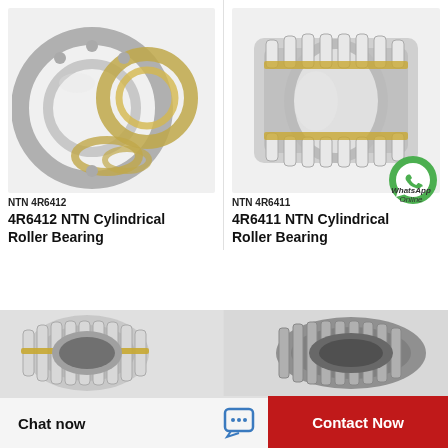[Figure (photo): Multiple cylindrical and ball roller bearings in silver and gold tones arranged on white background]
NTN 4R6412
4R6412 NTN Cylindrical Roller Bearing
[Figure (photo): Single large cylindrical roller bearing with silver and gold cage, seen from front angle, WhatsApp Online overlay visible]
NTN 4R6411
4R6411 NTN Cylindrical Roller Bearing
[Figure (photo): Cylindrical roller bearing with double row and gold/silver cage seen from side angle]
[Figure (photo): Cylindrical roller bearing single row dark grey seen from side angle]
Chat now
Contact Now